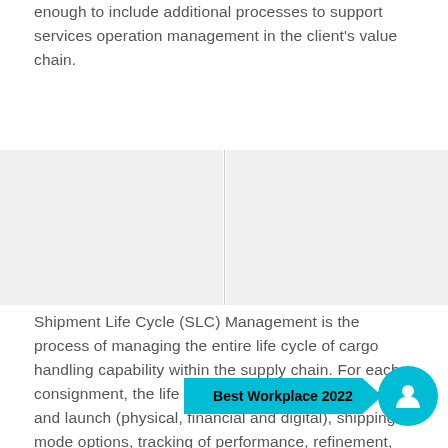enough to include additional processes to support services operation management in the client's value chain.
[Figure (other): Two gray rectangular panels side by side with a vertical divider, forming a decorative or placeholder image block.]
Shipment Life Cycle (SLC) Management is the process of managing the entire life cycle of cargo handling capability within the supply chain. For each consignment, the life cycle includes inception, design and launch (physical, financial and digital), shipping mode options, tracking of performance, refinement, and ultimately, the retirement of the processes, structures and governance re[quired for] cargo handling capabili[ty, and the] development and deployment of a strategy into logistics
[Figure (other): Best Workplace 2022 badge: a cyan speech-bubble shape with bold black text 'Best Workplace 2022' and a cyan circle with a white person/profile icon.]